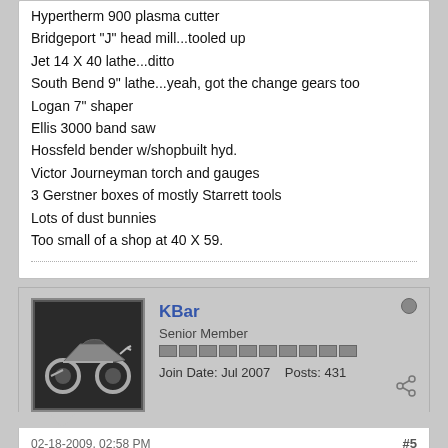Hypertherm 900 plasma cutter
Bridgeport "J" head mill...tooled up
Jet 14 X 40 lathe...ditto
South Bend 9" lathe...yeah, got the change gears too
Logan 7" shaper
Ellis 3000 band saw
Hossfeld bender w/shopbuilt hyd.
Victor Journeyman torch and gauges
3 Gerstner boxes of mostly Starrett tools
Lots of dust bunnies
Too small of a shop at 40 X 59.
KBar
Senior Member
Join Date: Jul 2007    Posts: 431
02-18-2009, 02:58 PM
#5
Not sure how much room you have but can you drill a hole in the back and get a nice piece of rod in there to help drive it out ?
Im not expert on receivers but if you do cut it off, I would use a sawzall or a wheel, definately not a torch, otherwise you'll weaken the whole receiver.